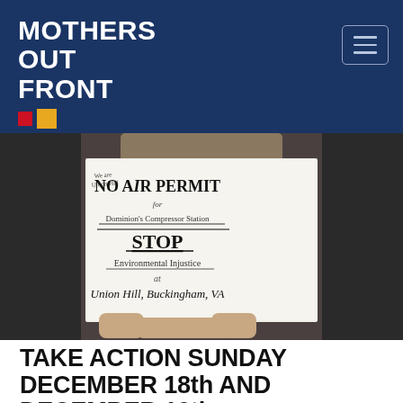MOTHERS OUT FRONT
[Figure (photo): Person holding a handwritten sign reading: NO AIR PERMIT for Dominion's Compressor Station / STOP Environmental Injustice at Union Hill, Buckingham, VA]
TAKE ACTION SUNDAY DECEMBER 18th AND DECEMBER 19th: